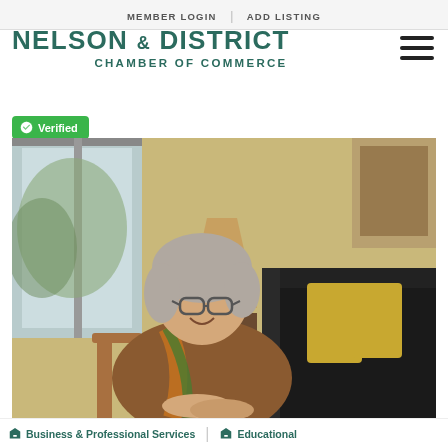MEMBER LOGIN | ADD LISTING
[Figure (logo): Nelson & District Chamber of Commerce logo with hamburger menu icon]
✓ Verified
[Figure (photo): Professional woman with gray hair and glasses, wearing a brown blazer and colorful scarf, seated in a wooden chair in an office/home setting with a black leather sofa and lamp in background]
Business & Professional Services  Educational